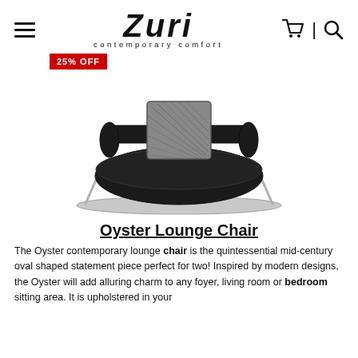Zuri contemporary comfort — navigation header with hamburger menu, cart, and search icons
25% OFF
[Figure (photo): Black oval lounge chair (Oyster Lounge Chair) with a patterned throw pillow on the back, chrome/silver oval base frame, photographed on white background.]
Oyster Lounge Chair
The Oyster contemporary lounge chair is the quintessential mid-century oval shaped statement piece perfect for two! Inspired by modern designs, the Oyster will add alluring charm to any foyer, living room or bedroom sitting area. It is upholstered in your